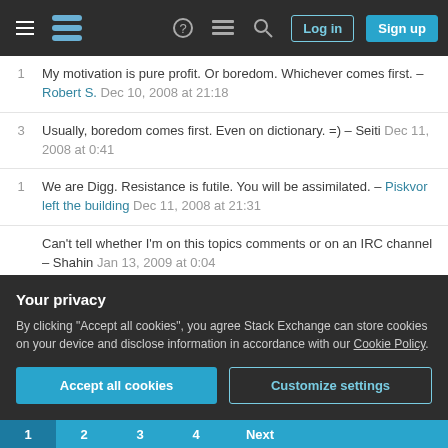Stack Exchange navigation bar with hamburger menu, logo, help, chat, search icons, Log in and Sign up buttons
1  My motivation is pure profit. Or boredom. Whichever comes first. – Robert S. Dec 10, 2008 at 21:18
3  Usually, boredom comes first. Even on dictionary. =) – Seiti Dec 11, 2008 at 0:41
1  We are Digg. Resistance is futile. You will be assimilated. – Piskvor left the building Dec 11, 2008 at 21:31
Can't tell whether I'm on this topics comments or on an IRC channel – Shahin Jan 13, 2009 at 0:04
How is this related to programming? – Seventh Element Feb 13, 2009 at 22:03
Your privacy

By clicking "Accept all cookies", you agree Stack Exchange can store cookies on your device and disclose information in accordance with our Cookie Policy.

[Accept all cookies] [Customize settings]
1  2  3  4  Next